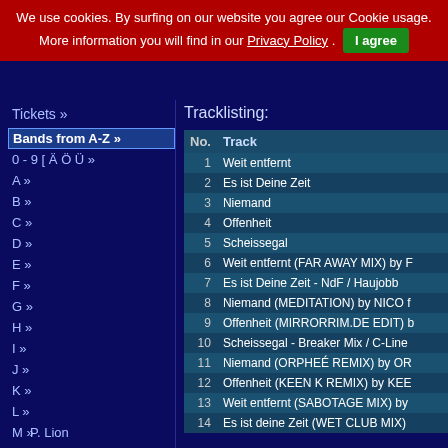We use cookies. By surfing on our website you agree our Cookie usage. More information you will find in our Privacy Policy . I agree
Tickets »
Bands from A-Z »
0 - 9 [ Ä Ö Ü »
A »
B »
C »
D »
E »
F »
G »
H »
I »
J »
K »
L »
M »
N »
O »
P »
Tracklisting:
| No. | Track |
| --- | --- |
| 1 | Weit entfernt |
| 2 | Es ist Deine Zeit |
| 3 | Niemand |
| 4 | Offenheit |
| 5 | Scheissegal |
| 6 | Weit entfernt (FAR AWAY MIX) by F |
| 7 | Es ist Deine Zeit - NdF / Haujobb |
| 8 | Niemand (MEDITATION) by NICO f |
| 9 | Offenheit (MIRRORRIM.DE EDIT) b |
| 10 | Scheissegal - Breaker Mix / C-Line |
| 11 | Niemand (ORPHEÉ REMIX) by OR |
| 12 | Offenheit (KEEN K REMIX) by KEE |
| 13 | Weit entfernt (SABOTAGE MIX) by |
| 14 | Es ist deine Zeit (WET CLUB MIX) |
P. Lion